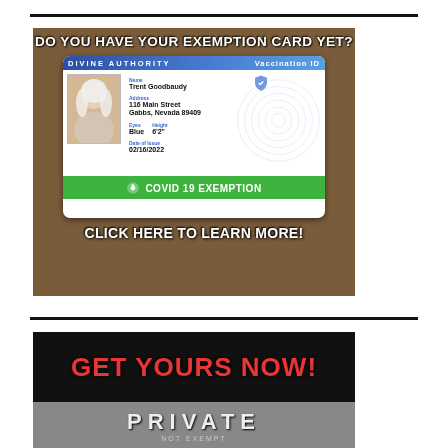[Figure (infographic): Advertisement image showing a fake 'Divine Authority Vaccination ID' COVID-19 exemption card. Top text reads 'DO YOU HAVE YOUR EXEMPTION CARD YET?' The card shows name Trent Goodbaudy, address 116 Main Street Gabbs, Nevada 89409, Eyes: Blue, Height: 6'2", Date of Issue: 02/16/2022, with a green bar at bottom reading 'COVID 19 EXEMPTION'. Bottom text reads 'CLICK HERE TO LEARN MORE!']
[Figure (infographic): Second advertisement image with black background showing red bold text 'GET YOURS NOW!' and below a partial image suggesting a license plate with text 'PRIVATE' and 'NOT EXEMPT']